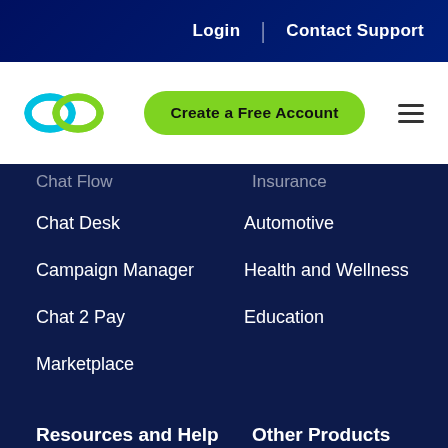Login | Contact Support
[Figure (logo): Linked/loop icon logo in cyan and green]
Create a Free Account
Chat Flow (partially visible)
Insurance (partially visible)
Chat Desk
Automotive
Campaign Manager
Health and Wellness
Chat 2 Pay
Education
Marketplace
Resources and Help
Other Products
Resource Center
SMS Products
Help Center (partially visible)
Long Numbers (partially visible)